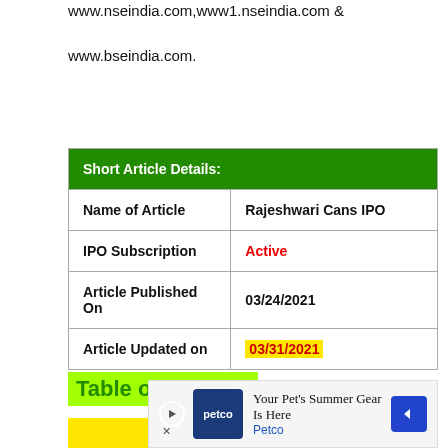www.nseindia.com,www1.nseindia.com & www.bseindia.com.
| Short Article Details: |
| --- |
| Name of Article | Rajeshwari Cans IPO |
| IPO Subscription | Active |
| Article Published On | 03/24/2021 |
| Article Updated on | 03/31/2021 |
Table of Content